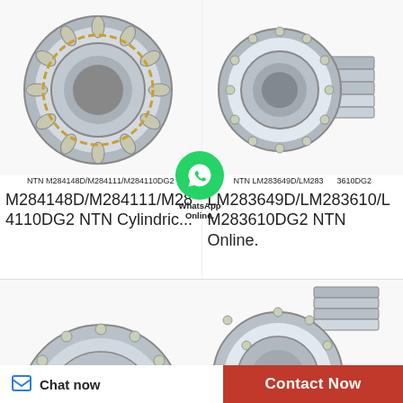[Figure (photo): NTN M284148D/M284111/M284110DG2 cylindrical roller bearing photo]
NTN M284148D/M284111/M284110DG2
M284148D/M284111/M284110DG2 NTN Cylindric...
[Figure (photo): NTN LM283649D/LM283610/LM283610DG2 tapered roller bearing photo]
NTN LM283649D/LM283610/LM283610DG2
LM283649D/LM283610/LM283610DG2 NTN Online.
[Figure (photo): WhatsApp Online contact icon]
[Figure (photo): Bottom left bearing partial photo]
[Figure (photo): Bottom right bearing partial photo]
Chat now
Contact Now